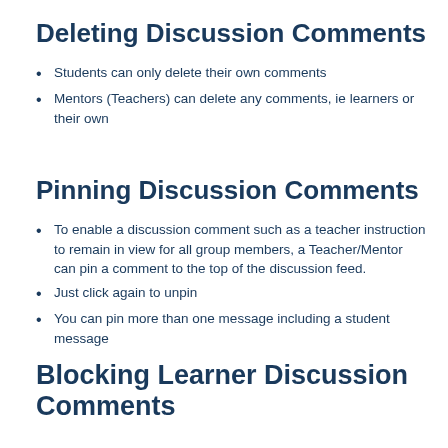Deleting Discussion Comments
Students can only delete their own comments
Mentors (Teachers) can delete any comments, ie learners or their own
Pinning Discussion Comments
To enable a discussion comment such as a teacher instruction to remain in view for all group members, a Teacher/Mentor can pin a comment to the top of the discussion feed.
Just click again to unpin
You can pin more than one message including a student message
Blocking Learner Discussion Comments